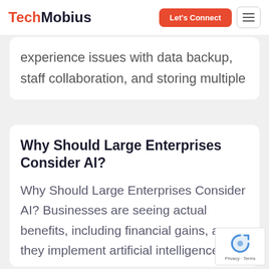TechMobius | Let's Connect
experience issues with data backup, staff collaboration, and storing multiple
Why Should Large Enterprises Consider AI?
Why Should Large Enterprises Consider AI? Businesses are seeing actual benefits, including financial gains, as they implement artificial intelligence